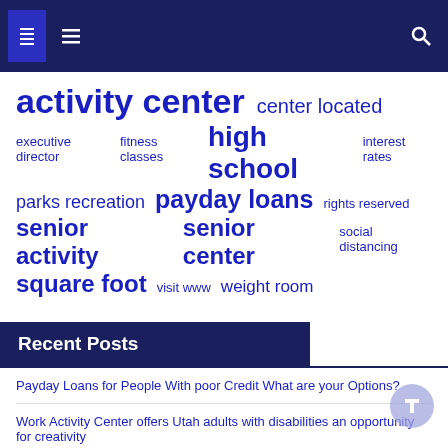Navigation bar with menu and search icons
[Figure (infographic): Tag cloud with various topic tags in different sizes, all in blue/dark blue color: 'activity center' (largest), 'center located', 'executive director', 'fitness classes', 'high school' (large), 'interest rates', 'parks recreation', 'payday loans' (large), 'rights reserved', 'senior activity' (large), 'senior center' (large), 'social distancing', 'square foot' (large), 'visit www', 'weight room']
Recent Posts
Payday Loans for People With poor Credit What are your Options?
Work Activity Center offers Utah adults with disabilities an opportunity for creativity
Smithville High opens $10.1 million activity center